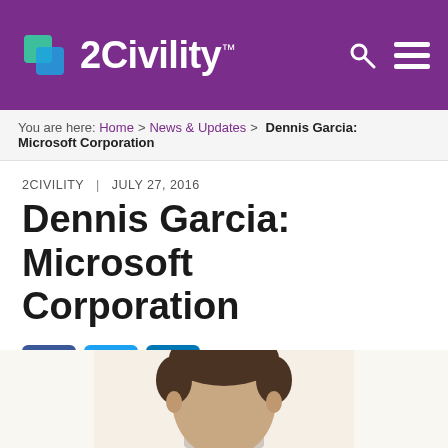[Figure (logo): 2Civility logo with purple header background, search icon, and hamburger menu]
You are here: Home > News & Updates > Dennis Garcia: Microsoft Corporation
2CIVILITY | JULY 27, 2016
Dennis Garcia: Microsoft Corporation
[Figure (other): Social media sharing buttons: Facebook, Twitter, LinkedIn]
[Figure (photo): Headshot photo of Dennis Garcia, partial view showing head and top of shoulders]